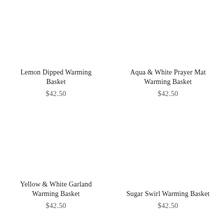Lemon Dipped Warming Basket
$42.50
Aqua & White Prayer Mat Warming Basket
$42.50
Yellow & White Garland Warming Basket
$42.50
Sugar Swirl Warming Basket
$42.50